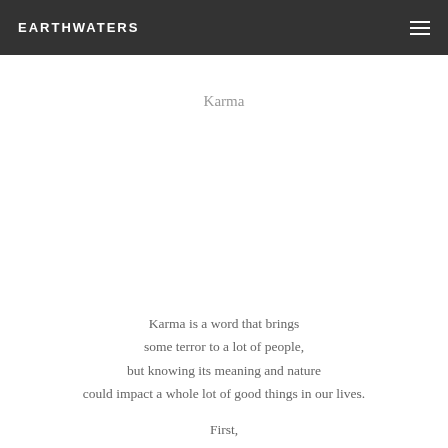EARTHWATERS
Karma
Karma is a word that brings some terror to a lot of people, but knowing its meaning and nature could impact a whole lot of good things in our lives.
First,